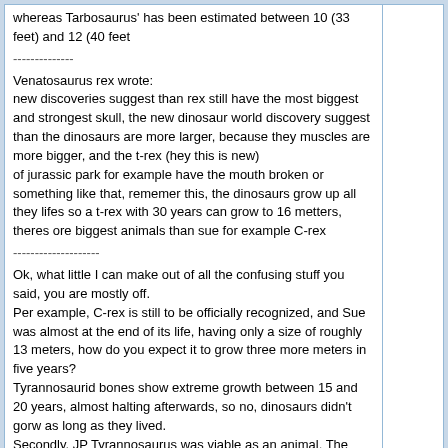whereas Tarbosaurus' has been estimated between 10 (33 feet) and 12 (40 feet
--------------
Venatosaurus rex wrote:
new discoveries suggest than rex still have the most biggest and strongest skull, the new dinosaur world discovery suggest than the dinosaurs are more larger, because they muscles are more bigger, and the t-rex (hey this is new)
of jurassic park for example have the mouth broken or something like that, rememer this, the dinosaurs grow up all they lifes so a t-rex with 30 years can grow to 16 metters, theres ore biggest animals than sue for example C-rex
--------------------
Ok, what little I can make out of all the confusing stuff you said, you are mostly off.
Per example, C-rex is still to be officially recognized, and Sue was almost at the end of its life, having only a size of roughly 13 meters, how do you expect it to grow three more meters in five years?
Tyrannosaurid bones show extreme growth between 15 and 20 years, almost halting afterwards, so no, dinosaurs didn't gorw as long as they lived.
Secondly, JP Tyrannosaurus was viable as an animal. The ligaments seemed strong enough to not break.
EDIT: However, if a new Tyrannosaurus specimen is actually found surpassing the 14 meter mark, I'd be quite happy. However, you have absolutely no evidence for your "16 meter" claim as evidence stands now.
2008-1-15 11:16 PM  #10